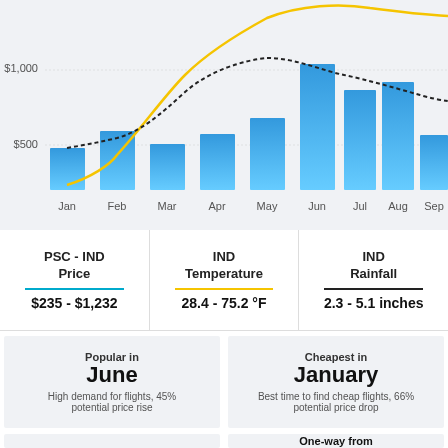[Figure (bar-chart): PSC-IND Flight Price by Month]
PSC - IND Price
$235 - $1,232
IND Temperature
28.4 - 75.2 °F
IND Rainfall
2.3 - 5.1 inches
Popular in June
High demand for flights, 45% potential price rise
Cheapest in January
Best time to find cheap flights, 66% potential price drop
One-way from